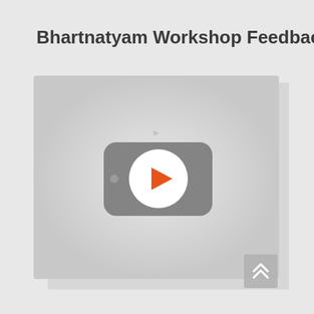Bhartnatyam Workshop Feedback
[Figure (screenshot): A video thumbnail placeholder showing a blurred gray background with a YouTube-style play button in the center — a rounded-rectangle dark gray icon with a white circular button containing an orange play triangle. Below the main image is a shadow/stacked card effect, and a small gray scroll-to-top button in the bottom right corner.]